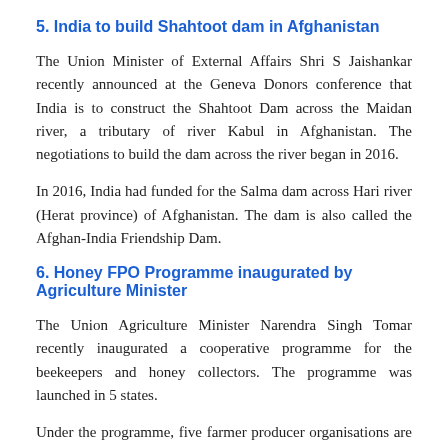5. India to build Shahtoot dam in Afghanistan
The Union Minister of External Affairs Shri S Jaishankar recently announced at the Geneva Donors conference that India is to construct the Shahtoot Dam across the Maidan river, a tributary of river Kabul in Afghanistan. The negotiations to build the dam across the river began in 2016.
In 2016, India had funded for the Salma dam across Hari river (Herat province) of Afghanistan. The dam is also called the Afghan-India Friendship Dam.
6. Honey FPO Programme inaugurated by Agriculture Minister
The Union Agriculture Minister Narendra Singh Tomar recently inaugurated a cooperative programme for the beekeepers and honey collectors. The programme was launched in 5 states.
Under the programme, five farmer producer organisations are to be set up in five states. They are to be established in East Champaran, Bikaner, Bharatpur, Rajasthan, Mysore, Madhya Pradesh, Mathura...